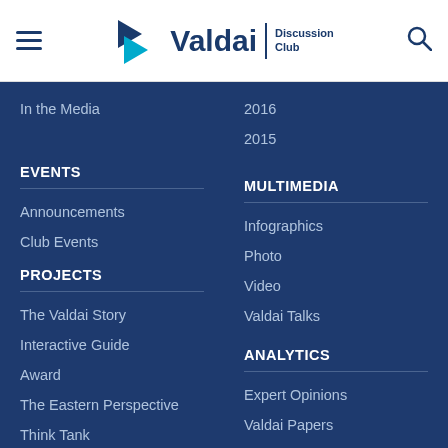Valdai Discussion Club
In the Media
EVENTS
Announcements
Club Events
PROJECTS
The Valdai Story
Interactive Guide
Award
The Eastern Perspective
Think Tank
2016
2015
MULTIMEDIA
Infographics
Photo
Video
Valdai Talks
ANALYTICS
Expert Opinions
Valdai Papers
Reports
Books